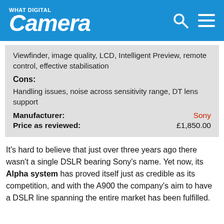What Digital Camera
Viewfinder, image quality, LCD, Intelligent Preview, remote control, effective stabilisation
Cons:
Handling issues, noise across sensitivity range, DT lens support
Manufacturer: Sony
Price as reviewed: £1,850.00
It’s hard to believe that just over three years ago there wasn’t a single DSLR bearing Sony’s name. Yet now, its Alpha system has proved itself just as credible as its competition, and with the A900 the company’s aim to have a DSLR line spanning the entire market has been fulfilled.